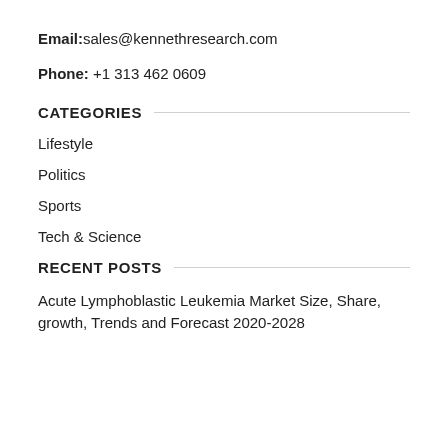Email:sales@kennethresearch.com
Phone: +1 313 462 0609
CATEGORIES
Lifestyle
Politics
Sports
Tech & Science
RECENT POSTS
Acute Lymphoblastic Leukemia Market Size, Share, growth, Trends and Forecast 2020-2028